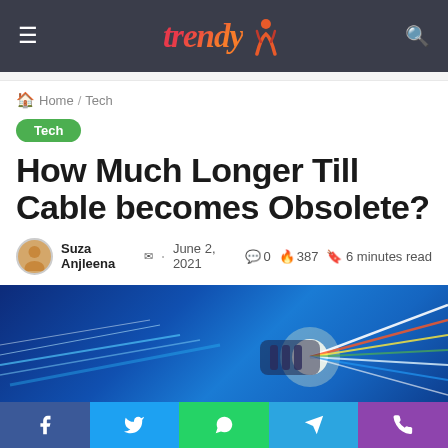Trendy [logo] — navigation header with hamburger menu and search icon
Home / Tech
Tech
How Much Longer Till Cable becomes Obsolete?
Suza Anjleena · June 2, 2021 · 0 comments · 387 views · 6 minutes read
[Figure (photo): Blue fiber optic cables with bright glowing light streaks on dark blue background]
Social share buttons: Facebook, Twitter, WhatsApp, Telegram, Viber